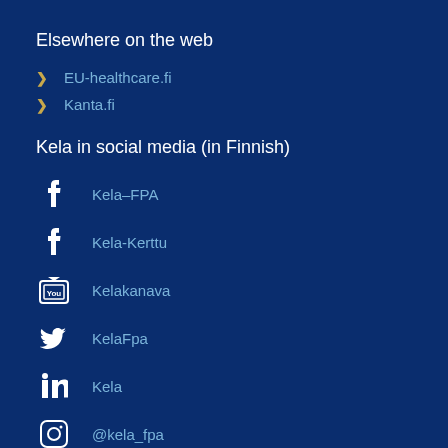Elsewhere on the web
EU-healthcare.fi
Kanta.fi
Kela in social media (in Finnish)
Kela–FPA
Kela-Kerttu
Kelakanava
KelaFpa
Kela
@kela_fpa